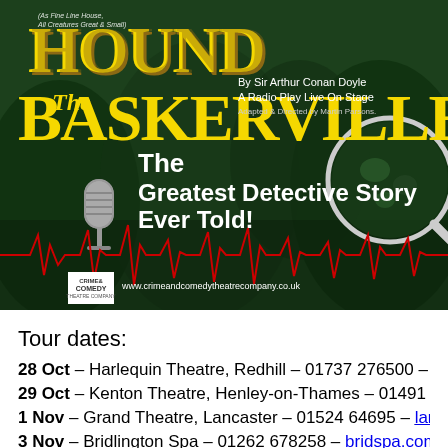[Figure (illustration): Theatre promotional poster for 'The Hound of the Baskervilles' - A Radio Play Live On Stage by Sir Arthur Conan Doyle, adapted and directed by Martin Parsons. Features yellow distressed title text, a vintage microphone, a magnifying glass, a red heartbeat/soundwave line over a dark green forest background. Crime and Comedy Theatre Company logo and website www.crimeandcomedytheatrecompany.co.uk shown at bottom.]
Tour dates:
28 Oct – Harlequin Theatre, Redhill – 01737 276500 – harle
29 Oct – Kenton Theatre, Henley-on-Thames – 01491 52505
1 Nov – Grand Theatre, Lancaster – 01524 64695 – lancaste
3 Nov – Bridlington Spa – 01262 678258 – bridspa.com